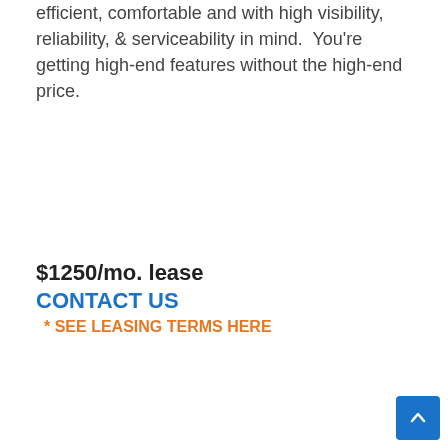efficient, comfortable and with high visibility, reliability, & serviceability in mind.  You're getting high-end features without the high-end price.
$1250/mo. lease
CONTACT US
* SEE LEASING TERMS HERE